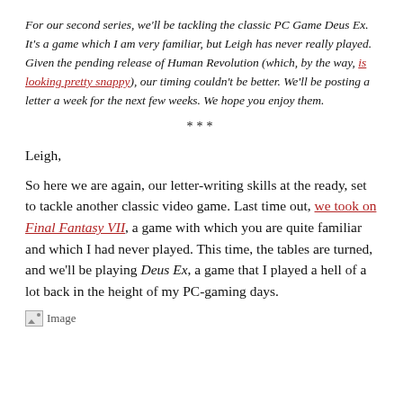For our second series, we'll be tackling the classic PC Game Deus Ex. It's a game which I am very familiar, but Leigh has never really played. Given the pending release of Human Revolution (which, by the way, is looking pretty snappy), our timing couldn't be better. We'll be posting a letter a week for the next few weeks. We hope you enjoy them.
***
Leigh,
So here we are again, our letter-writing skills at the ready, set to tackle another classic video game. Last time out, we took on Final Fantasy VII, a game with which you are quite familiar and which I had never played. This time, the tables are turned, and we'll be playing Deus Ex, a game that I played a hell of a lot back in the height of my PC-gaming days.
[Figure (other): Broken image placeholder labeled 'Image']